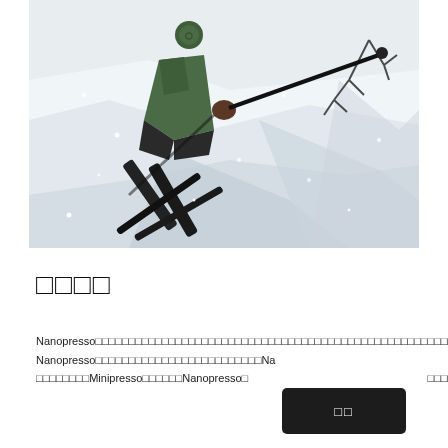[Figure (illustration): Digital illustration of a skier in green jacket navigating steep snowy terrain with ski poles, trees visible in background, stylized flat art style with grey shadows on white snow.]
□□□□
Nanopresso□□□□□□□□□□□□□□□□□□□□□□□□□□□□□□□□□□□□□□□□□□□□□□□□□□□□□□□□□□□□□□Nanopresso□□□□□□□□□□□□□□□□□□□□□□□□□Na□□□□□□□□□□□□□□□□□□□□□□□□□□□□□□□□□Minipresso□□□□□□Nanopresso□□□□□□□□□□□□□□□□□□□□□□□□□□